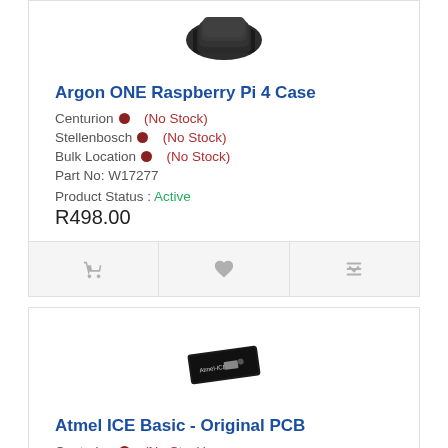[Figure (photo): Argon ONE Raspberry Pi 4 Case product image - black rectangular case viewed from above at an angle]
Argon ONE Raspberry Pi 4 Case
Centurion • (No Stock)
Stellenbosch • (No Stock)
Bulk Location • (No Stock)
Part No: W17277
Product Status : Active
R498.00
[Figure (photo): Atmel ICE Basic Original PCB product image - small black rectangular PCB module]
Atmel ICE Basic - Original PCB
Centurion • (No Stock)
Stellenbosch • (No Stock)